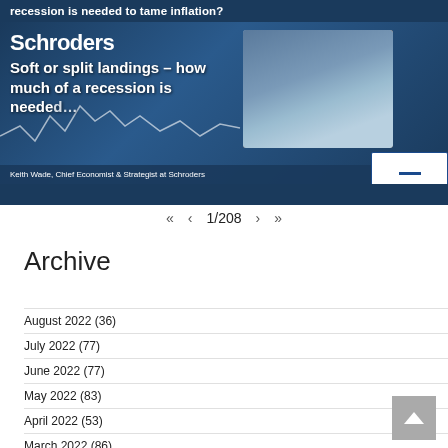[Figure (screenshot): Schroders financial media screenshot showing article titled 'Soft or split landings – how much of a recession is needed to tame inflation?' with Keith Wade, Chief Economist & Strategist at Schroders, and pagination showing 1/208]
1/208
Archive
August 2022 (36)
July 2022 (77)
June 2022 (77)
May 2022 (83)
April 2022 (53)
March 2022 (86)
February 2022 (89)